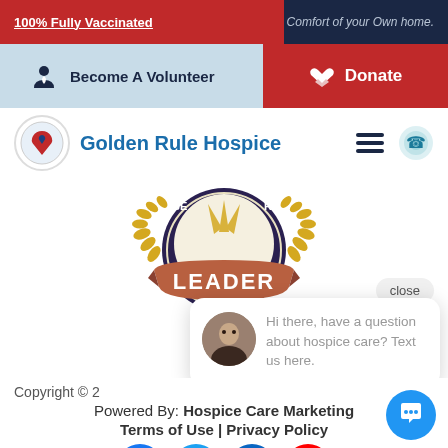100% Fully Vaccinated | Comfort of your Own home.
Become A Volunteer
Donate
Golden Rule Hospice
[Figure (logo): Golden Rule Hospice badge/award logo showing 'LEADER' ribbon with laurel wreaths and 'BEST CARE' text on dark circular badge]
close
Hi there, have a question about hospice care? Text us here.
Copyright © 2
Powered By: Hospice Care Marketing
Terms of Use | Privacy Policy
[Figure (illustration): Social media icons: Facebook, Twitter, LinkedIn, YouTube]